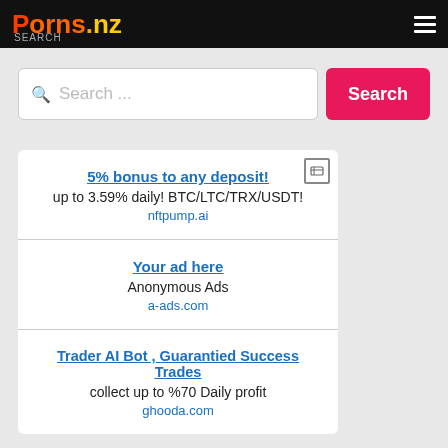Porns.nz SEARCH
Search ...
Search
5% bonus to any deposit!
up to 3.59% daily! BTC/LTC/TRX/USDT!
nftpump.ai
Your ad here
Anonymous Ads
a-ads.com
Trader AI Bot , Guarantied Success Trades
collect up to %70 Daily profit
ghooda.com